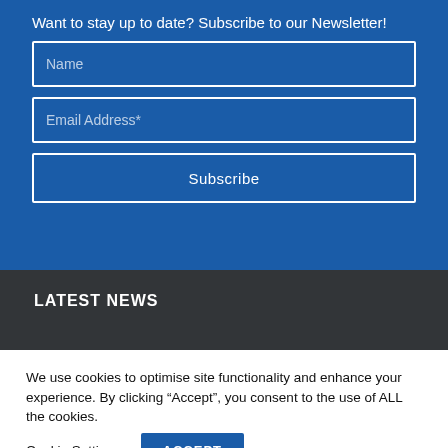Want to stay up to date? Subscribe to our Newsletter!
Name
Email Address*
Subscribe
LATEST NEWS
We use cookies to optimise site functionality and enhance your experience. By clicking “Accept”, you consent to the use of ALL the cookies.
Cookie Settings
ACCEPT